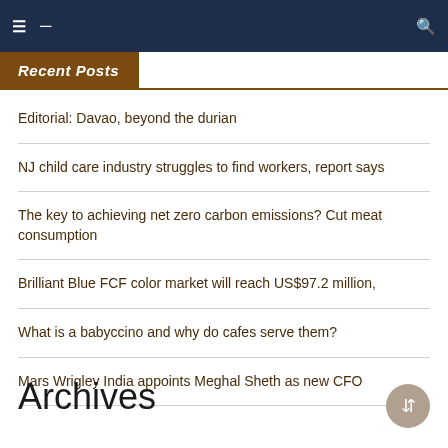Navigation bar with menu icons and search
Recent Posts
Editorial: Davao, beyond the durian
NJ child care industry struggles to find workers, report says
The key to achieving net zero carbon emissions? Cut meat consumption
Brilliant Blue FCF color market will reach US$97.2 million,
What is a babyccino and why do cafes serve them?
Mars Wrigley India appoints Meghal Sheth as new CFO
Archives